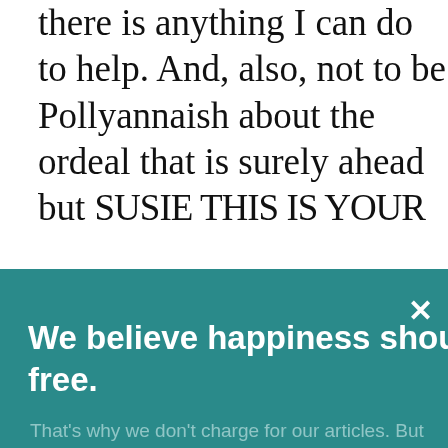there is anything I can do to help. And, also, not to be Pollyannaish about the ordeal that is surely ahead but SUSIE THIS IS YOUR
[Figure (screenshot): Teal overlay banner with white bold text reading 'We believe happiness should be free.' and a white × close button in the top right.]
That's why we don't charge for our articles. But we can't keep it up without your help. Please donate today
ABOUT OUR COOKIE USE
The websites of the Greater Good Science Center use cookies to serve our sites securely, provide functionality, and collect analytics information. If you're OK with that, click Accept or just start using our site. Or you can click Decline to opt-out.
Give Now
ACCEPT
DECLINE